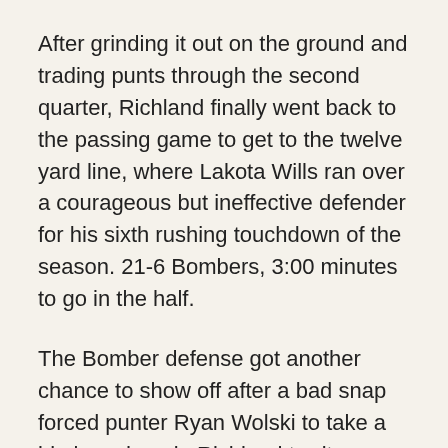After grinding it out on the ground and trading punts through the second quarter, Richland finally went back to the passing game to get to the twelve yard line, where Lakota Wills ran over a courageous but ineffective defender for his sixth rushing touchdown of the season. 21-6 Bombers, 3:00 minutes to go in the half.
The Bomber defense got another chance to show off after a bad snap forced punter Ryan Wolski to take a big loss deep in Richland territory. Learning from the past, the Blue Devils tried to use their passing game to get back in it, but Ryan Piper came up with an interception to get the ball back. The rest of the third quarter showed both teams trying to get their running games in gear, but despite Whitby and Wills taking turns kicking up dirt and having some success, it was